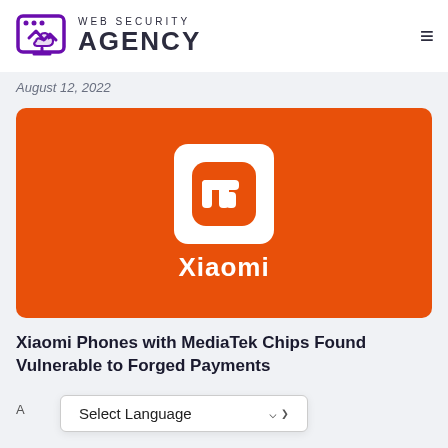Web Security Agency
August 12, 2022
[Figure (logo): Xiaomi brand logo on orange background with white 'mi' rounded square icon and 'Xiaomi' text in white below]
Xiaomi Phones with MediaTek Chips Found Vulnerable to Forged Payments
A
Select Language